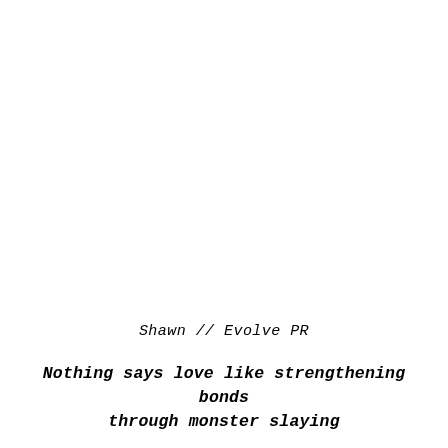Shawn // Evolve PR
Nothing says love like strengthening bonds through monster slaying